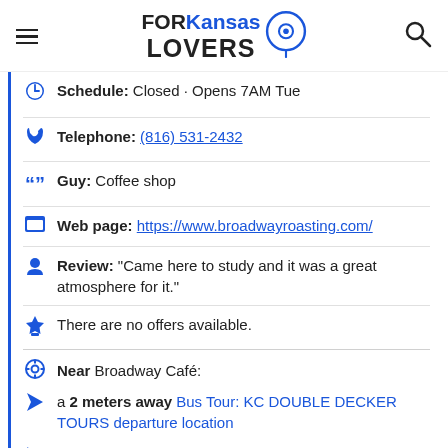FOR Kansas LOVERS
Schedule: Closed · Opens 7AM Tue
Telephone: (816) 531-2432
Guy: Coffee shop
Web page: https://www.broadwayroasting.com/
Review: "Came here to study and it was a great atmosphere for it."
There are no offers available.
Near Broadway Café:
a 2 meters away Bus Tour: KC DOUBLE DECKER TOURS departure location
a 14 meters away student flats in: Westley on Broadway